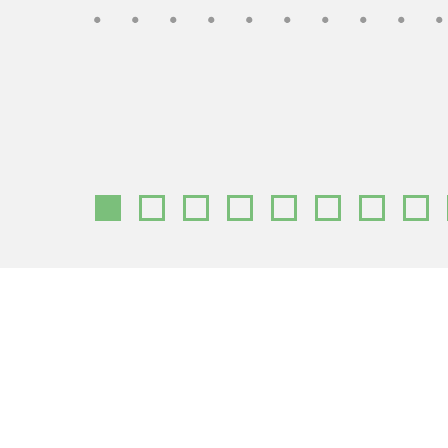[Figure (other): Partial italic text visible at top of gray section, appearing as a cropped decorative or title element with dotted/spaced characters in gray italic font]
[Figure (infographic): A horizontal row of 9 small squares: the first square is solid green-filled, the remaining 8 are green outlined (empty). Appears to be a pagination or progress indicator on a light gray background.]